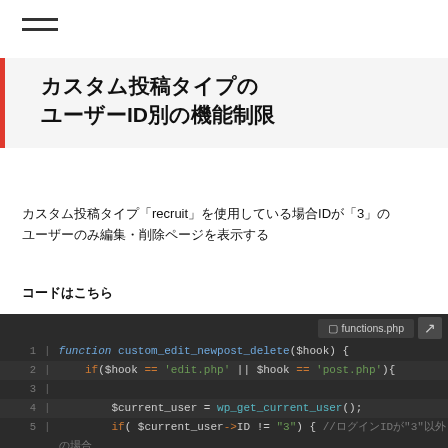[Figure (other): Hamburger menu icon (two horizontal lines)]
カスタム投稿タイプのIDを指定した制限
カスタム投稿タイプ「recruit」を使用している場合IDが「3」のユーザーのみ編集・削除ページを表示する
コードはこちら
[Figure (screenshot): PHP code editor screenshot showing function custom_edit_newpost_delete($hook) with if conditions checking $hook and $current_user->ID]